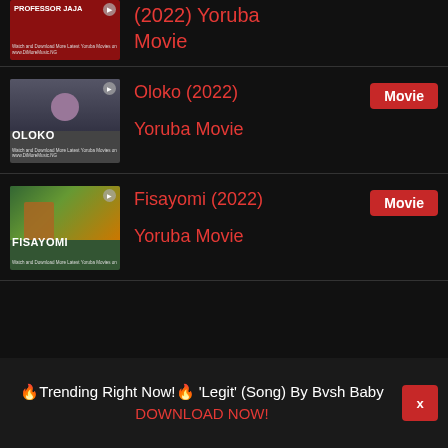[Figure (screenshot): Thumbnail for Professor Jaja (2022) Yoruba Movie with red banner]
(2022) Yoruba Movie
[Figure (screenshot): Thumbnail for Oloko (2022) Yoruba Movie showing woman]
Oloko (2022) Yoruba Movie
Movie
[Figure (screenshot): Thumbnail for Fisayomi (2022) Yoruba Movie]
Fisayomi (2022) Yoruba Movie
Movie
🔥Trending Right Now!🔥 'Legit' (Song) By Bvsh Baby DOWNLOAD NOW!